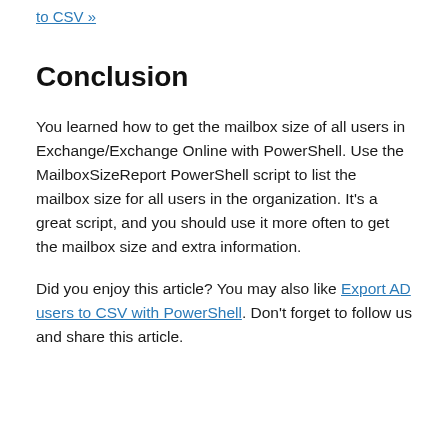to CSV »
Conclusion
You learned how to get the mailbox size of all users in Exchange/Exchange Online with PowerShell. Use the MailboxSizeReport PowerShell script to list the mailbox size for all users in the organization. It's a great script, and you should use it more often to get the mailbox size and extra information.
Did you enjoy this article? You may also like Export AD users to CSV with PowerShell. Don't forget to follow us and share this article.